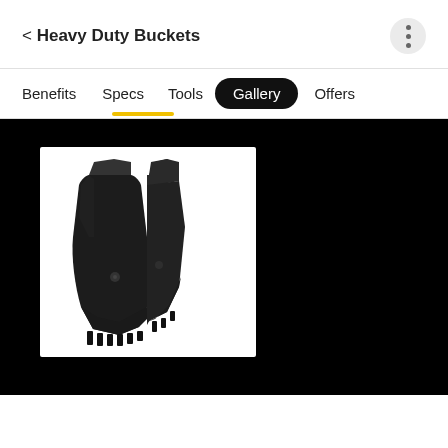< Heavy Duty Buckets
Benefits  Specs  Tools  Gallery  Offers
[Figure (photo): Heavy duty excavator bucket (black) shown at an angle, with teeth at the bottom, on a white background, displayed in the Gallery tab of a product page.]